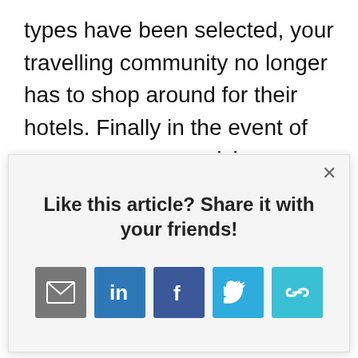types have been selected, your travelling community no longer has to shop around for their hotels. Finally in the event of an emergency or crisis you are more likely to be able to track down your travellers and assist them if they are staying in preferred hotels
Like this article? Share it with your friends!
[Figure (infographic): Social sharing icons: email (grey), LinkedIn (blue), Facebook (dark blue), Twitter (light blue), link/chain (teal)]